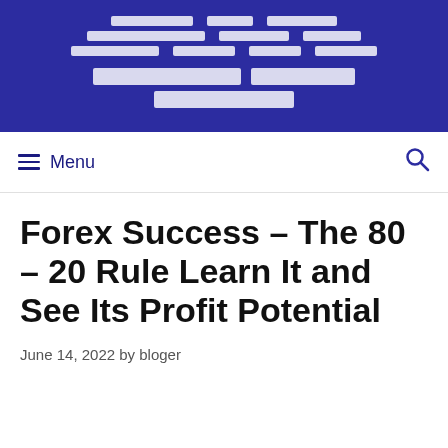[redacted navigation menu with site title in Thai/foreign script on dark blue background]
Menu
Forex Success – The 80 – 20 Rule Learn It and See Its Profit Potential
June 14, 2022 by bloger